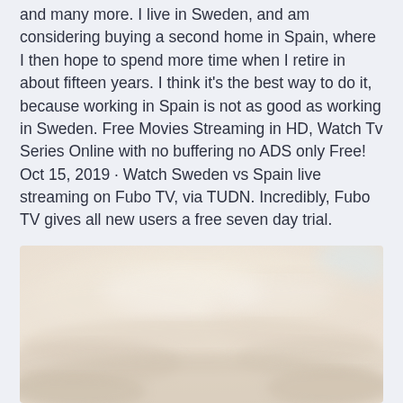and many more. I live in Sweden, and am considering buying a second home in Spain, where I then hope to spend more time when I retire in about fifteen years. I think it's the best way to do it, because working in Spain is not as good as working in Sweden. Free Movies Streaming in HD, Watch Tv Series Online with no buffering no ADS only Free! Oct 15, 2019 · Watch Sweden vs Spain live streaming on Fubo TV, via TUDN. Incredibly, Fubo TV gives all new users a free seven day trial.
[Figure (photo): A blurred / soft-focus photo showing clouds or a pale sky, rendered in muted beige and white tones.]